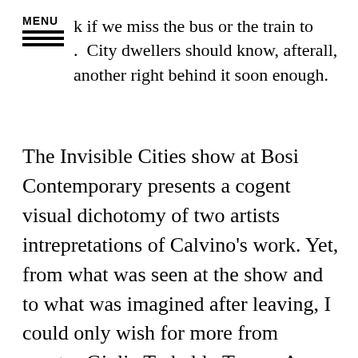MENU
k if we miss the bus or the train to .  City dwellers should know, afterall, another right behind it soon enough.
The Invisible Cities show at Bosi Contemporary presents a cogent visual dichotomy of two artists intrepretations of Calvino's work. Yet, from what was seen at the show and to what was imagined after leaving, I could only wish for more from curator Giulia Trabaldo Togna. As Calvino states in Invisible Cities: “You take delight not in a city's seven or seventy wonders, but in the answer it gives to a question of yours.” And so too it is with art. Italo Calvino took us far and wide throughout nine unforgettable chapters. Trabaldo Togna can,